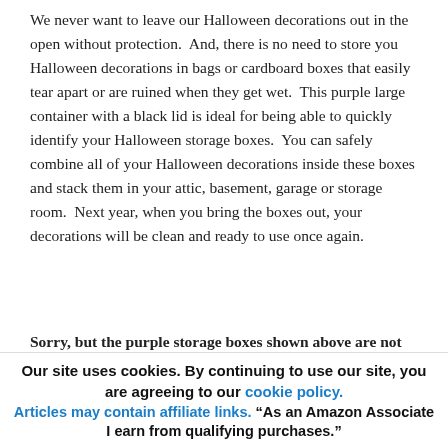We never want to leave our Halloween decorations out in the open without protection. And, there is no need to store you Halloween decorations in bags or cardboard boxes that easily tear apart or are ruined when they get wet. This purple large container with a black lid is ideal for being able to quickly identify your Halloween storage boxes. You can safely combine all of your Halloween decorations inside these boxes and stack them in your attic, basement, garage or storage room. Next year, when you bring the boxes out, your decorations will be clean and ready to use once again.
Sorry, but the purple storage boxes shown above are not available at this time. Perhaps, you would like these
Our site uses cookies. By continuing to use our site, you are agreeing to our cookie policy. Articles may contain affiliate links. "As an Amazon Associate I earn from qualifying purchases."